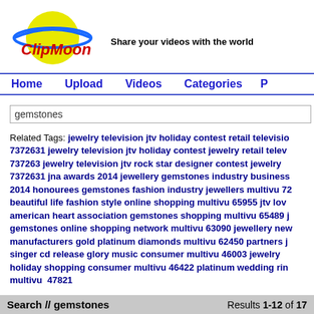[Figure (logo): ClipMoon logo with yellow planet/circle and blue ring, red text 'ClipMoon']
Share your videos with the world
Home  Upload  Videos  Categories  P
gemstones
Related Tags: jewelry television jtv holiday contest retail televisio... 7372631 jewelry television jtv holiday contest jewelry retail telev... 737263 jewelry television jtv rock star designer contest jewelry ... 7372631 jna awards 2014 jewellery gemstones industry business... 2014 honourees gemstones fashion industry jewellers multivu 72... beautiful life fashion style online shopping multivu 65955 jtv lov... american heart association gemstones shopping multivu 65489 j... gemstones online shopping network multivu 63090 jewellery new... manufacturers gold platinum diamonds multivu 62450 partners j... singer cd release glory music consumer multivu 46003 jewelry ... holiday shopping consumer multivu 46422 platinum wedding rin... multivu 47821
Sort by: Date Added - Title - View Count - Rating
Search // gemstones    Results 1-12 of 17